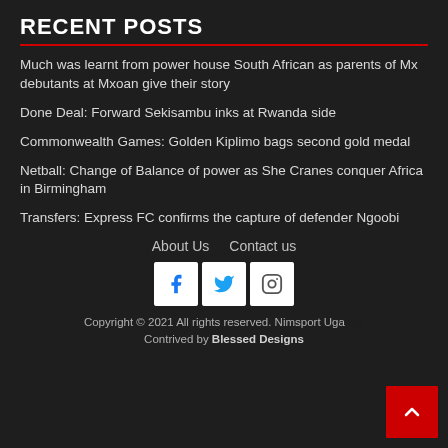RECENT POSTS
Much was learnt from power house South African as parents of Mx debutants at Mxoan give their story
Done Deal: Forward Sekisambu inks at Rwanda side
Commonwealth Games: Golden Kiplimo bags second gold medal
Netball: Change of Balance of power as She Cranes conquer Africa in Birmingham
Transfers: Express FC confirms the capture of defender Ngoobi
About Us   Contact us
[Figure (other): Social media icons: Facebook, Twitter, Instagram]
Copyright © 2021 All rights reserved. Nimsport Uganda
Contrived by Blessed Designs